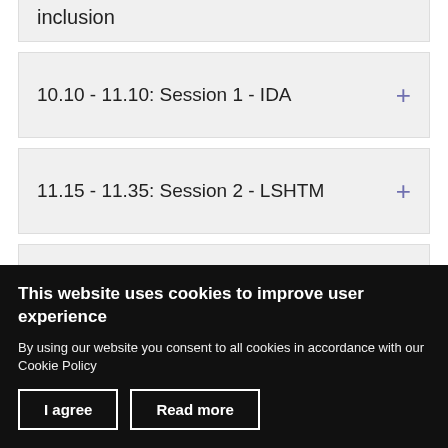inclusion
10.10 - 11.10: Session 1 - IDA
11.15 - 11.35: Session 2 - LSHTM
11.35 - 11.55: Session 3 - ADD International
This website uses cookies to improve user experience
By using our website you consent to all cookies in accordance with our Cookie Policy
I agree
Read more